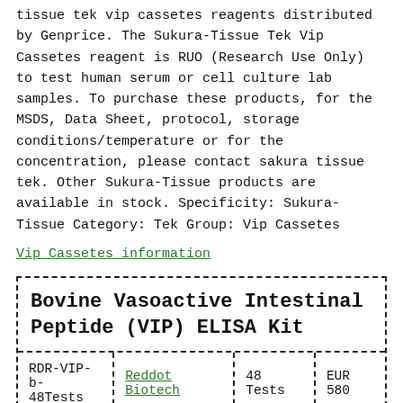tissue tek vip cassetes reagents distributed by Genprice. The Sukura-Tissue Tek Vip Cassetes reagent is RUO (Research Use Only) to test human serum or cell culture lab samples. To purchase these products, for the MSDS, Data Sheet, protocol, storage conditions/temperature or for the concentration, please contact sakura tissue tek. Other Sukura-Tissue products are available in stock. Specificity: Sukura-Tissue Category: Tek Group: Vip Cassetes
Vip Cassetes information
Bovine Vasoactive Intestinal Peptide (VIP) ELISA Kit
|  |  |  |  |
| --- | --- | --- | --- |
| RDR-VIP-b-48Tests | Reddot Biotech | 48 Tests | EUR 580 |
Bovine Vasoactive Intestinal